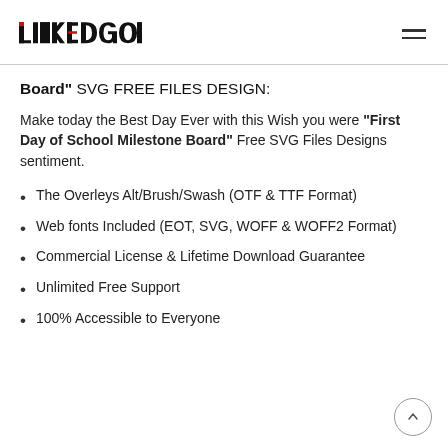LINKEDGE [logo]
Board” SVG FREE FILES DESIGN:
Make today the Best Day Ever with this Wish you were “First Day of School Milestone Board” Free SVG Files Designs sentiment.
The Overleys Alt/Brush/Swash (OTF & TTF Format)
Web fonts Included (EOT, SVG, WOFF & WOFF2 Format)
Commercial License & Lifetime Download Guarantee
Unlimited Free Support
100% Accessible to Everyone